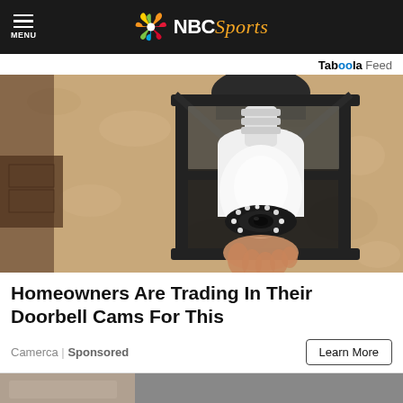NBC Sports
Taboola Feed
[Figure (photo): A security camera shaped like a light bulb installed inside an outdoor wall lantern fixture mounted on a textured stucco wall. A hand is holding/installing the bulb-shaped camera.]
Homeowners Are Trading In Their Doorbell Cams For This
Camerca | Sponsored
Learn More
[Figure (photo): Bottom strip of another advertisement image, partially visible.]